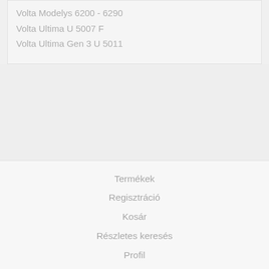Volta Modelys 6200 - 6290
Volta Ultima U 5007 F
Volta Ultima Gen 3 U 5011
Termékek
Regisztráció
Kosár
Részletes keresés
Profil
Szállítás és fizetés
Általános szerződési feltételek
Adatkezelési tájékoztató